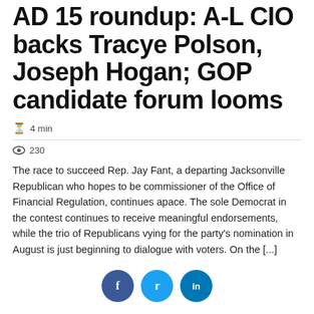AD 15 roundup: A-L CIO backs Tracye Polson, Joseph Hogan; GOP candidate forum looms
4 min
230
The race to succeed Rep. Jay Fant, a departing Jacksonville Republican who hopes to be commissioner of the Office of Financial Regulation, continues apace. The sole Democrat in the contest continues to receive meaningful endorsements, while the trio of Republicans vying for the party's nomination in August is just beginning to dialogue with voters. On the [...]